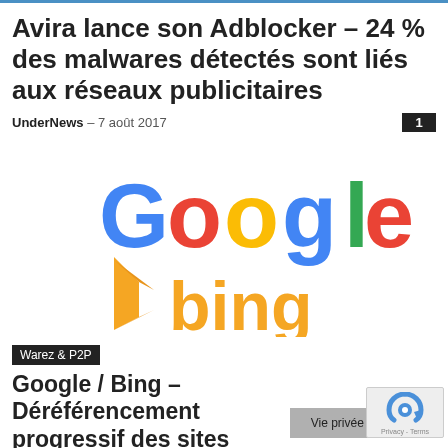Avira lance son Adblocker – 24 % des malwares détectés sont liés aux réseaux publicitaires
UnderNews – 7 août 2017
[Figure (logo): Google and Bing logos side by side]
Warez & P2P
Google / Bing – Déréférencement progressif des sites pirates
UnderNews – 21 février 2017